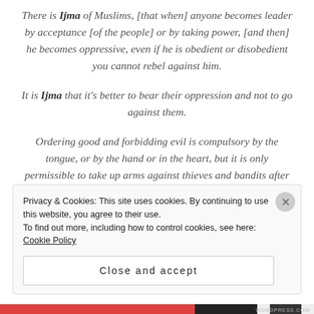There is Ijma of Muslims, [that when] anyone becomes leader by acceptance [of the people] or by taking power, [and then] he becomes oppressive, even if he is obedient or disobedient you cannot rebel against him.
It is Ijma that it’s better to bear their oppression and not to go against them.
Ordering good and forbidding evil is compulsory by the tongue, or by the hand or in the heart, but it is only permissible to take up arms against thieves and bandits after asking them to stop. But you cannot go against the
Privacy & Cookies: This site uses cookies. By continuing to use this website, you agree to their use.
To find out more, including how to control cookies, see here: Cookie Policy
Close and accept